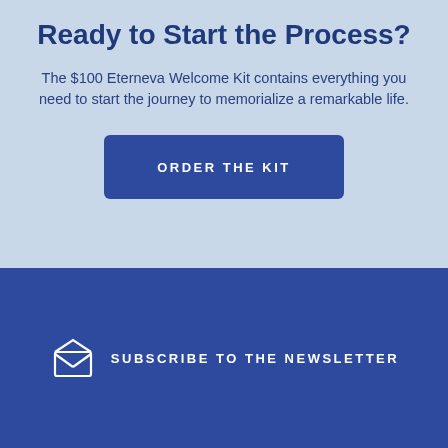Ready to Start the Process?
The $100 Eterneva Welcome Kit contains everything you need to start the journey to memorialize a remarkable life.
ORDER THE KIT
SUBSCRIBE TO THE NEWSLETTER